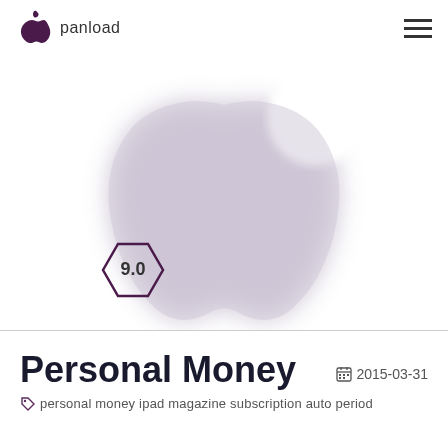panload
[Figure (logo): Large blurred Apple logo (bitten apple) in light lavender/gray color filling the hero section, with a hexagonal badge showing '9.0' rating in the lower left]
Personal Money
2015-03-31
personal money ipad magazine subscription auto period